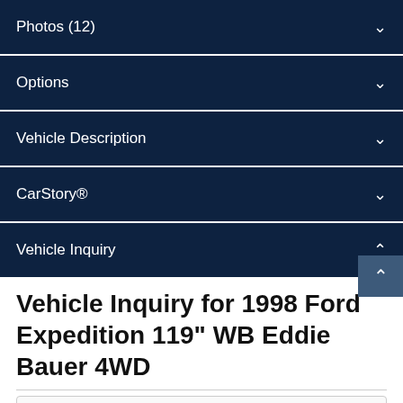Photos (12)
Options
Vehicle Description
CarStory®
Vehicle Inquiry
Vehicle Inquiry for 1998 Ford Expedition 119" WB Eddie Bauer 4WD
First Name: *